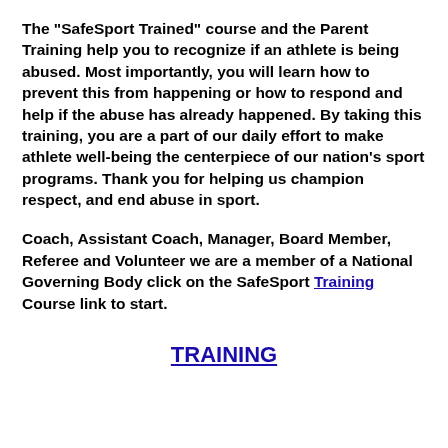The "SafeSport Trained" course and the Parent Training help you to recognize if an athlete is being abused. Most importantly, you will learn how to prevent this from happening or how to respond and help if the abuse has already happened. By taking this training, you are a part of our daily effort to make athlete well-being the centerpiece of our nation's sport programs. Thank you for helping us champion respect, and end abuse in sport.
Coach, Assistant Coach, Manager, Board Member, Referee and Volunteer we are a member of a National Governing Body click on the SafeSport Training Course link to start.
TRAINING